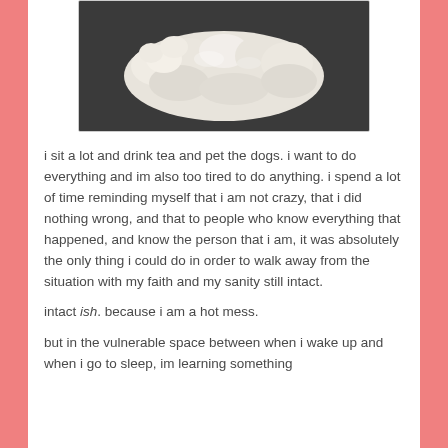[Figure (photo): A fluffy white dog lying on a dark surface, photographed from above, showing its back and curly fur.]
i sit a lot and drink tea and pet the dogs. i want to do everything and im also too tired to do anything. i spend a lot of time reminding myself that i am not crazy, that i did nothing wrong, and that to people who know everything that happened, and know the person that i am, it was absolutely the only thing i could do in order to walk away from the situation with my faith and my sanity still intact.
intact ish. because i am a hot mess.
but in the vulnerable space between when i wake up and when i go to sleep, im learning something